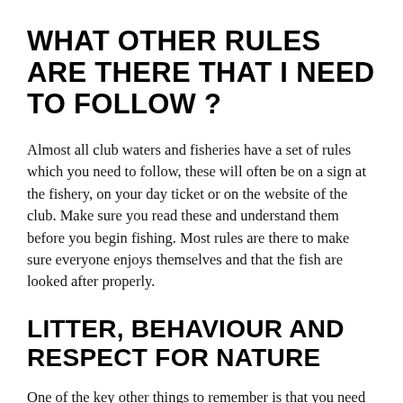WHAT OTHER RULES ARE THERE THAT I NEED TO FOLLOW ?
Almost all club waters and fisheries have a set of rules which you need to follow, these will often be on a sign at the fishery, on your day ticket or on the website of the club. Make sure you read these and understand them before you begin fishing. Most rules are there to make sure everyone enjoys themselves and that the fish are looked after properly.
LITTER, BEHAVIOUR AND RESPECT FOR NATURE
One of the key other things to remember is that you need to leave no litter, you must ensure that you clean up